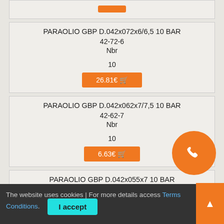PARAOLIO GBP D.042x072x6/6,5 10 BAR
42-72-6
Nbr
10
26.81€
PARAOLIO GBP D.042x062x7/7,5 10 BAR
42-62-7
Nbr
10
6.63€
PARAOLIO GBP D.042x055x7 10 BAR
42-55-7
Nbr
10
The website uses cookies | For more details access Terms Conditions.
I accept